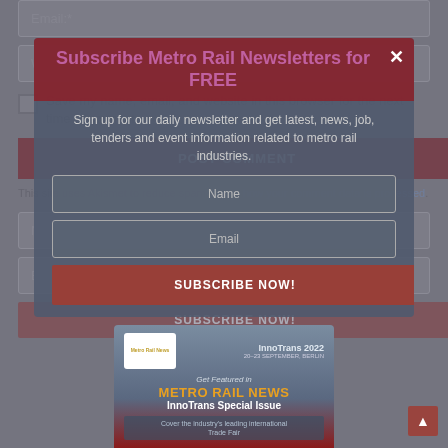Email:*
Website:
Save my name, email, and website in this browser for the next time I comment.
POST COMMENT
This site uses Akismet to reduce spam. Learn how your comment data is processed.
Subscribe Metro Rail Newsletters for FREE
Sign up for our daily newsletter and get latest, news, job, tenders and event information related to metro rail industries.
Name
Email
SUBSCRIBE NOW!
[Figure (screenshot): Metro Rail News and InnoTrans 2022 advertisement banner showing logos, 'Get Featured in METRO RAIL NEWS InnoTrans Special Issue' text, and 'Cover the industry's leading international Trade Fair' tagline]